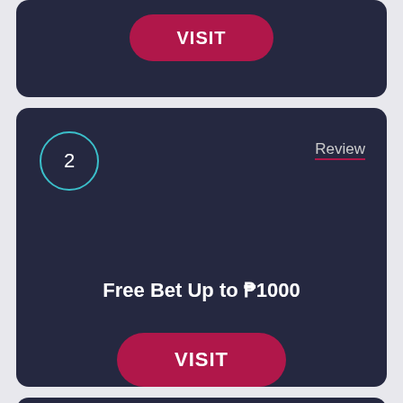[Figure (infographic): Top card (partially visible) with a dark navy background showing a crimson VISIT button]
[Figure (infographic): Middle card with number 2 badge in teal circle, Review link, 'Free Bet Up to ₱1000' promo text, and a VISIT button]
[Figure (infographic): Bottom card (partially visible) with number 3 badge in teal circle and Review link]